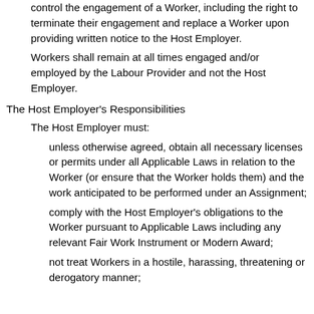control the engagement of a Worker, including the right to terminate their engagement and replace a Worker upon providing written notice to the Host Employer.
Workers shall remain at all times engaged and/or employed by the Labour Provider and not the Host Employer.
The Host Employer's Responsibilities
The Host Employer must:
unless otherwise agreed, obtain all necessary licenses or permits under all Applicable Laws in relation to the Worker (or ensure that the Worker holds them) and the work anticipated to be performed under an Assignment;
comply with the Host Employer's obligations to the Worker pursuant to Applicable Laws including any relevant Fair Work Instrument or Modern Award;
not treat Workers in a hostile, harassing, threatening or derogatory manner;